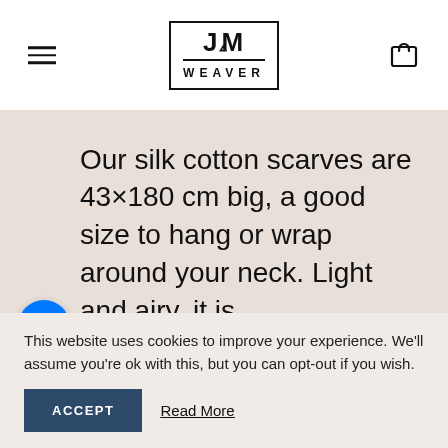JIM WEAVER logo with hamburger menu and bag icon
Our silk cotton scarves are 43×180 cm big, a good size to hang or wrap around your neck. Light and airy, it is
This website uses cookies to improve your experience. We'll assume you're ok with this, but you can opt-out if you wish.